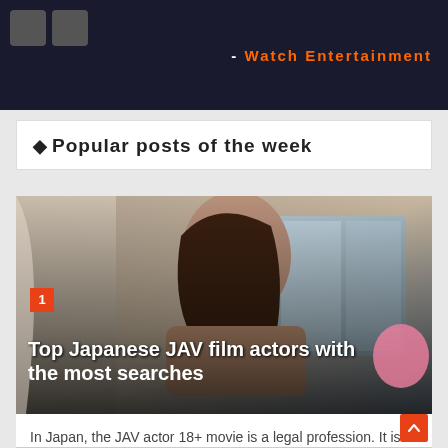[Figure (screenshot): Dark banner header with two gray squares on the left and orange bold text reading '- Watch Entertainment' on the right against a dark blue/black background]
Popular posts of the week
[Figure (photo): Photo of a young woman with long brown hair posing, with a red badge showing number 1 and overlay text 'Top Japanese JAV film actors with the most searches']
In Japan, the JAV actor 18+ movie is a legal profession. It is the entertainment industry that brings tremendous profits. Although Japan b... Readmore